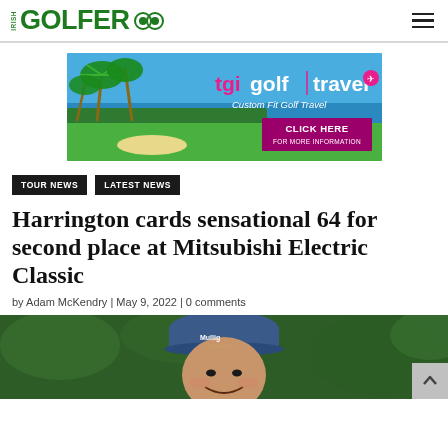IRISH GOLFER
[Figure (photo): TGI Golf Travel advertisement banner with tropical golf course background, palm trees, ocean view. Text reads: tgigolf travel, Custom Fit Golf Travel, CLICK HERE FOR MORE INFORMATION]
TOUR NEWS
LATEST NEWS
Harrington cards sensational 64 for second place at Mitsubishi Electric Classic
by Adam McKendry | May 9, 2022 | 0 comments
[Figure (photo): Padraig Harrington smiling, wearing a Mulli9 of Oman blue cap, outdoors with green foliage in background]